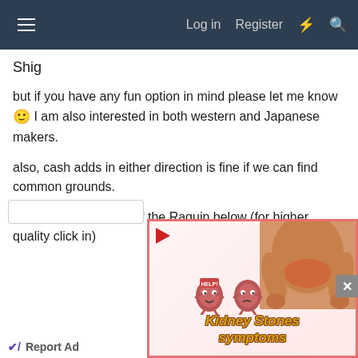≡  Log in  Register  ⚡  🔍
Shig
but if you have any fun option in mind please let me know 🙂 I am also interested in both western and Japanese makers.
also, cash adds in either direction is fine if we can find common grounds.
I attached some pics of the Raquin below (for higher quality click in)
[Figure (screenshot): Advertisement for Kidney Stones symptoms featuring cartoon kidney characters with 'HELP!' text and a photo of a person's back with reddened kidney area. Play button in top-left corner.]
Report Ad